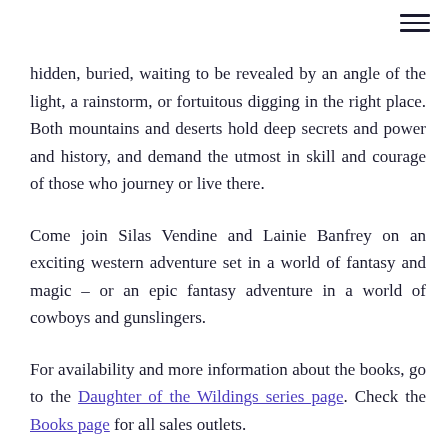[Figure (other): Hamburger menu icon (three horizontal lines) in the top right corner]
hidden, buried, waiting to be revealed by an angle of the light, a rainstorm, or fortuitous digging in the right place. Both mountains and deserts hold deep secrets and power and history, and demand the utmost in skill and courage of those who journey or live there.
Come join Silas Vendine and Lainie Banfrey on an exciting western adventure set in a world of fantasy and magic – or an epic fantasy adventure in a world of cowboys and gunslingers.
For availability and more information about the books, go to the Daughter of the Wildings series page. Check the Books page for all sales outlets.